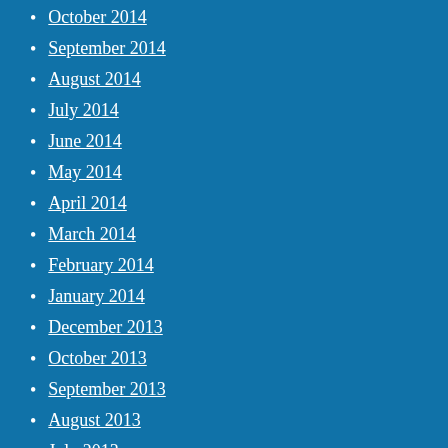October 2014
September 2014
August 2014
July 2014
June 2014
May 2014
April 2014
March 2014
February 2014
January 2014
December 2013
October 2013
September 2013
August 2013
July 2013
June 2013
May 2013